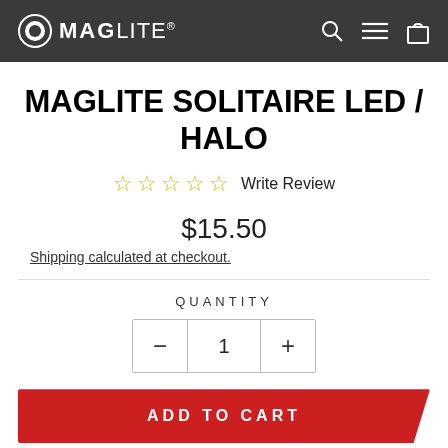MAGLITE
MAGLITE SOLITAIRE LED / HALO
☆ ☆ ☆ ☆ ☆ Write Review
$15.50
Shipping calculated at checkout.
QUANTITY
− 1 +
ADD TO CART